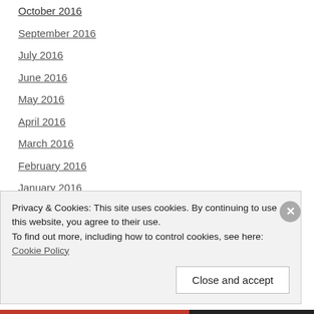October 2016
September 2016
July 2016
June 2016
May 2016
April 2016
March 2016
February 2016
January 2016
December 2015
November 2015
October 2015
Privacy & Cookies: This site uses cookies. By continuing to use this website, you agree to their use.
To find out more, including how to control cookies, see here: Cookie Policy
Close and accept